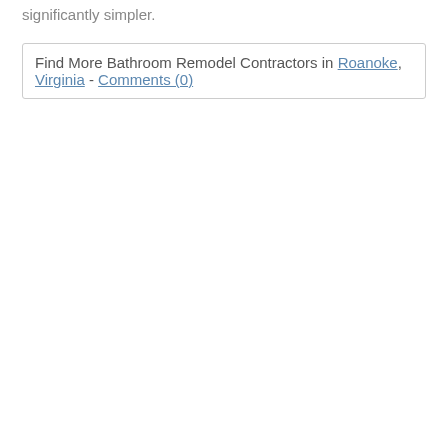significantly simpler.
Find More Bathroom Remodel Contractors in Roanoke, Virginia - Comments (0)